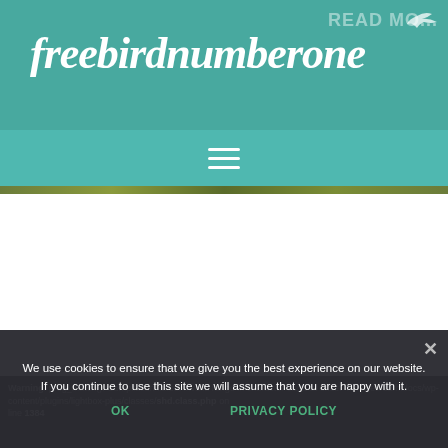[Figure (screenshot): Website header with teal/turquoise background, bird silhouette at top right, script logo text 'freebirdnumberone' in white italic font, and faded 'READ MO...' text at top right]
[Figure (screenshot): Hamburger menu icon (three horizontal white lines) on teal background]
[Figure (screenshot): Thin horizontal strip showing nature/foliage scene at top of content area]
Warning: preg_match(): Compilation failed: invalid range in character class at offset 4 in /web/12/htdocs/wp-content/plugins/lightbox-plus/classes/shd.class.php on line 1384
We use cookies to ensure that we give you the best experience on our website. If you continue to use this site we will assume that you are happy with it.
OK    PRIVACY POLICY